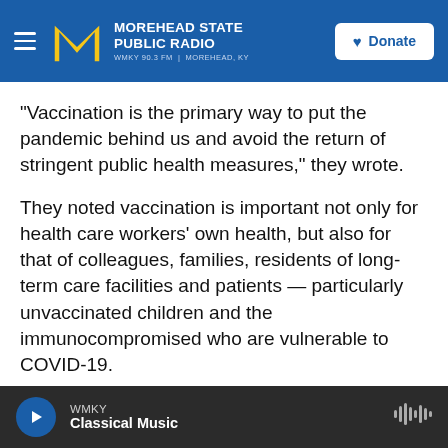[Figure (logo): Morehead State Public Radio header with logo, station name MOREHEAD STATE PUBLIC RADIO, WMKY 90.3 FM | MOREHEAD, KY, and a Donate button]
"Vaccination is the primary way to put the pandemic behind us and avoid the return of stringent public health measures," they wrote.
They noted vaccination is important not only for health care workers' own health, but also for that of colleagues, families, residents of long-term care facilities and patients — particularly unvaccinated children and the immunocompromised who are vulnerable to COVID-19.
"As the health care community leads the way in requiring vaccines for our employees, we hope all
[Figure (screenshot): Audio player bar with play button, WMKY label, Classical Music program name, and waveform icon]